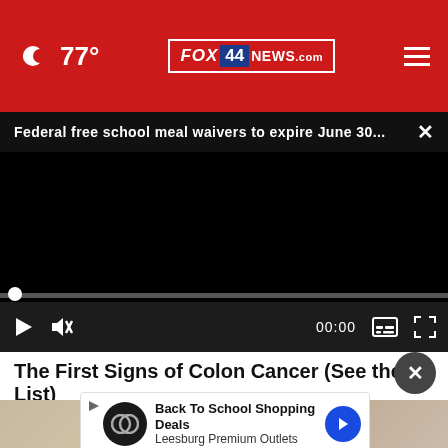77° FOX 44 NEWS.com
Federal free school meal waivers to expire June 30...
[Figure (screenshot): Black video player with progress bar and playback controls showing 00:00 timecode]
The First Signs of Colon Cancer (See the List)
Colon | Search Ads
[Figure (screenshot): Advertisement banner for Back To School Shopping Deals at Leesburg Premium Outlets with logo and navigation arrow]